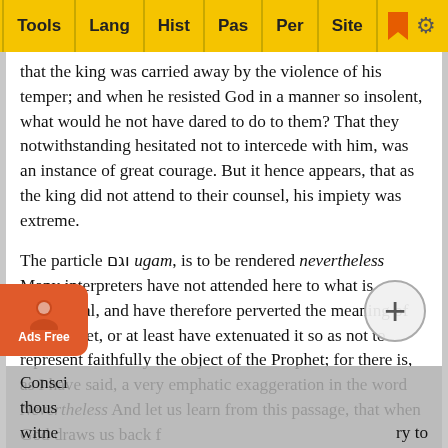Tools | Lang | Hist | Pas | Per | Site
that the king was carried away by the violence of his temper; and when he resisted God in a manner so insolent, what would he not have dared to do to them? That they notwithstanding hesitated not to intercede with him, was an instance of great courage. But it hence appears, that as the king did not attend to their counsel, his impiety was extreme.
The particle וגם ugam, is to be rendered nevertheless Many interpreters have not attended here to what is emphatical, and have therefore perverted the meaning of the Prophet, or at least have extenuated it so as not to represent faithfully the object of the Prophet; for there is, as I have said, a very emphatic exaggeration in the word Nevertheless And let us learn from this passage, that when God draws us back from wicked designs, we are less excusable if we persevere in executing what he clearly shews ought not to be done.
Consci[ence will be led along, but to point in the charge of] thous[ands...] witne[ss...] ry to